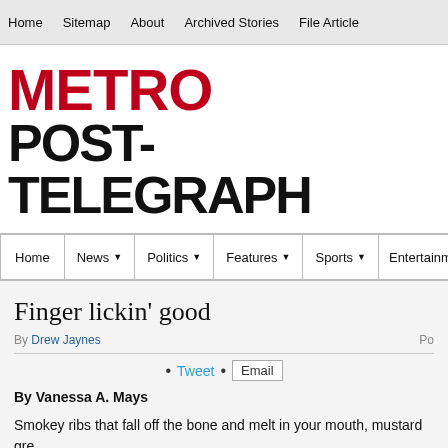Home  Sitemap  About  Archived Stories  File Article
METRO POST-TELEGRAPH
Home  News  Politics  Features  Sports  Entertainment
Finger lickin' good
By Drew Jaynes  Po...
• Tweet • Email
By Vanessa A. Mays
Smokey ribs that fall off the bone and melt in your mouth, mustard gre...